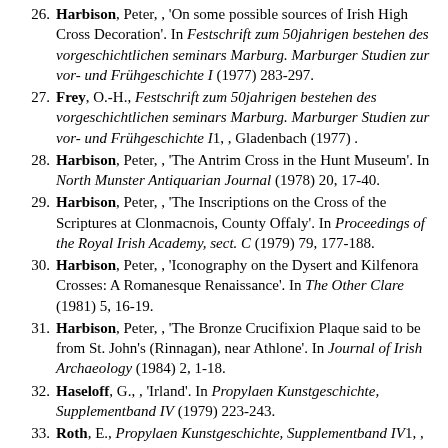26. Harbison, Peter, , 'On some possible sources of Irish High Cross Decoration'. In Festschrift zum 50jahrigen bestehen des vorgeschichtlichen seminars Marburg. Marburger Studien zur vor- und Frühgeschichte I (1977) 283-297.
27. Frey, O.-H., Festschrift zum 50jahrigen bestehen des vorgeschichtlichen seminars Marburg. Marburger Studien zur vor- und Frühgeschichte I1, , Gladenbach (1977) .
28. Harbison, Peter, , 'The Antrim Cross in the Hunt Museum'. In North Munster Antiquarian Journal (1978) 20, 17-40.
29. Harbison, Peter, , 'The Inscriptions on the Cross of the Scriptures at Clonmacnois, County Offaly'. In Proceedings of the Royal Irish Academy, sect. C (1979) 79, 177-188.
30. Harbison, Peter, , 'Iconography on the Dysert and Kilfenora Crosses: A Romanesque Renaissance'. In The Other Clare (1981) 5, 16-19.
31. Harbison, Peter, , 'The Bronze Crucifixion Plaque said to be from St. John's (Rinnagan), near Athlone'. In Journal of Irish Archaeology (1984) 2, 1-18.
32. Haseloff, G., , 'Irland'. In Propylaen Kunstgeschichte, Supplementband IV (1979) 223-243.
33. Roth, E., Propylaen Kunstgeschichte, Supplementband IV1, , Berlin (1979) .
34. Henry, F., , 'Les Origines de l'Iconographie Irlandaise'. In Revue Archéologique 5th Ser. (1930) 32, 89-109.
35. Henry, F., La sculpture irlandaise pendant les douze